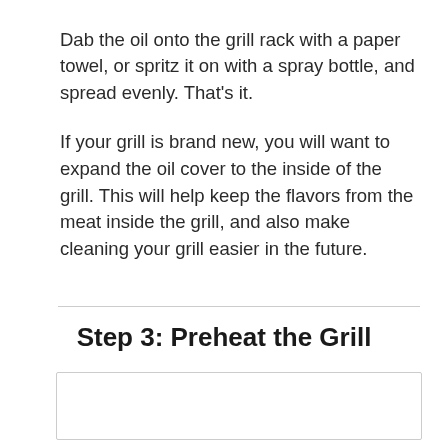Dab the oil onto the grill rack with a paper towel, or spritz it on with a spray bottle, and spread evenly. That's it.

If your grill is brand new, you will want to expand the oil cover to the inside of the grill. This will help keep the flavors from the meat inside the grill, and also make cleaning your grill easier in the future.
Step 3: Preheat the Grill
[Figure (other): Empty image box with border, content not visible]